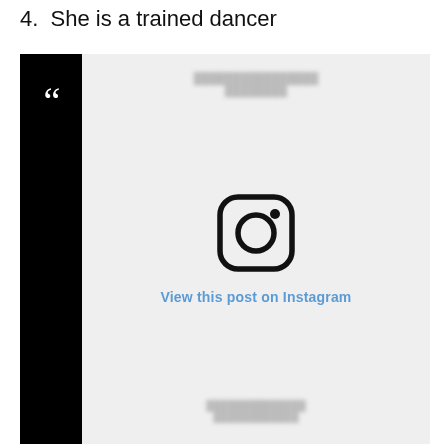4.  She is a trained dancer
[Figure (screenshot): An embedded Instagram post placeholder showing the Instagram logo icon and the text 'View this post on Instagram' in blue, with a black sidebar on the left containing a white quotation mark, on a light grey background.]